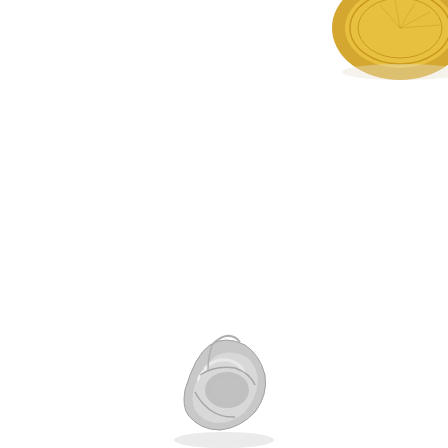[Figure (photo): Product photograph on white background showing two jewelry items: a gold-colored coin or medallion earring/pendant visible in the upper right corner, and a small silver/clear twisted or sculptural ring/charm visible in the lower center portion of the image. The background is bright white.]